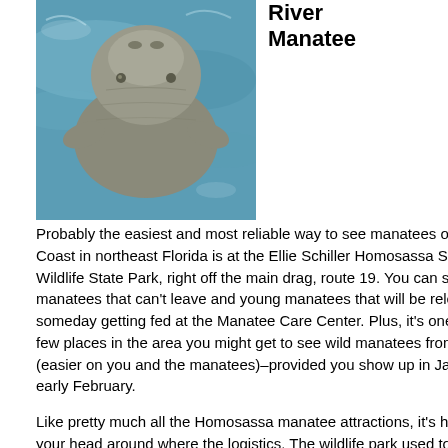[Figure (photo): A manatee swimming near the surface of blue water, viewed from above/front, showing its rounded snout and gray body.]
River Manatee
Probably the easiest and most reliable way to see manatees on the Nature Coast in northeast Florida is at the Ellie Schiller Homosassa Springs Wildlife State Park, right off the main drag, route 19. You can see female manatees that can't leave and young manatees that will be released someday getting fed at the Manatee Care Center. Plus, it's one of the very few places in the area you might get to see wild manatees from the shore (easier on you and the manatees)–provided you show up in January or early February.
Like pretty much all the Homosassa manatee attractions, it's hard to get your head around where the logistics. The wildlife park used to